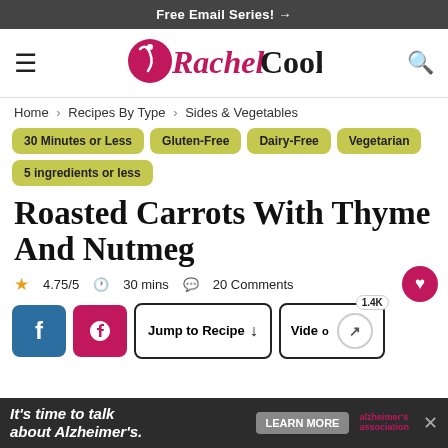Free Email Series! →
[Figure (logo): Rachel Cooks logo with spoon icon, Rachel in pink cursive and Cooks in bold black serif]
Home > Recipes By Type > Sides & Vegetables
30 Minutes or Less
Gluten-Free
Dairy-Free
Vegetarian
5 ingredients or less
Roasted Carrots With Thyme And Nutmeg
4.75/5  30 mins  20 Comments
Jump to Recipe  Video  1.4K
It's time to talk about Alzheimer's.  LEARN MORE